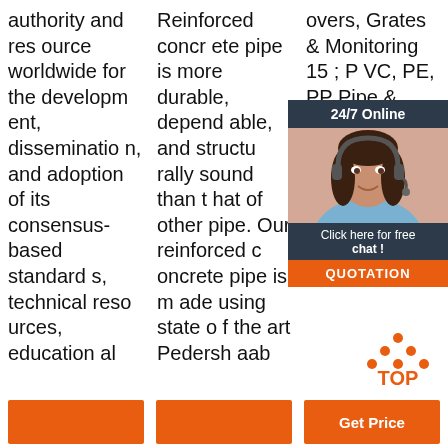authority and resource worldwide for the development, dissemination, and adoption of its consensus-based standards, technical resources, educational programs, and proven expertise for individuals and organizations involved in concrete design ...
Reinforced concrete pipe is more durable, dependable, and structurally sound than that of other pipe. Our reinforced concrete pipe is made using state of the art Pedershaab pipe machinery assuring world class quality, consistency, and high ...
overs, Grates & Monitoring 15 ; PVC, PE, PP Pipe & Fittings 4 ; Outlets 7 ; Sumps/Succe ssories 8 ; recallers 36 ; 8 ; s 6 ; Wastewater 14 ...
[Figure (infographic): 24/7 Online chat widget with photo of a woman with headset, dark background header saying '24/7 Online', text 'Click here for free chat!', and an orange QUOTATION button]
[Figure (logo): TOP logo with orange triangle/arrow pointing up made of dots, text TOP in orange]
Get Price